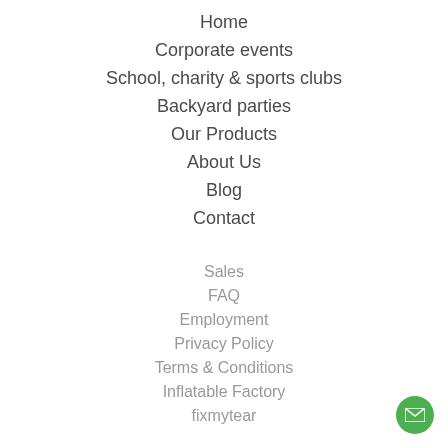Home
Corporate events
School, charity & sports clubs
Backyard parties
Our Products
About Us
Blog
Contact
Sales
FAQ
Employment
Privacy Policy
Terms & Conditions
Inflatable Factory
fixmytear
[Figure (illustration): Green circular email button with white envelope icon, bottom right corner]